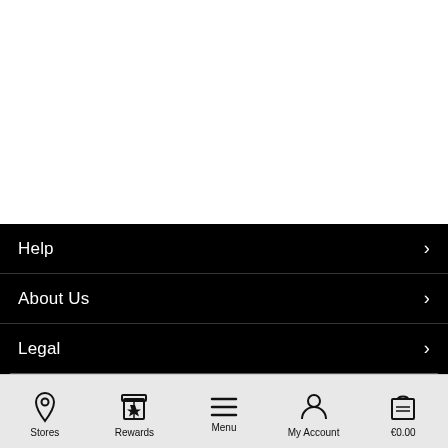Help
About Us
Legal
Stores  Rewards  Menu  My Account  €0.00